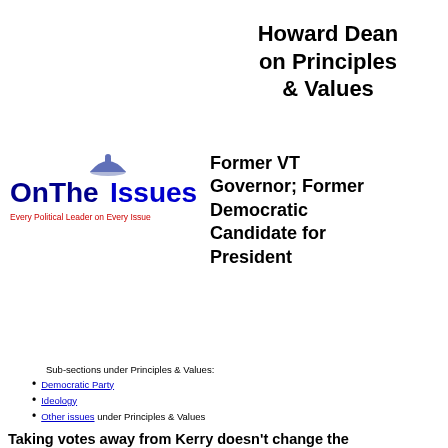Howard Dean on Principles & Values
Former VT Governor; Former Democratic Candidate for President
[Figure (logo): OnTheIssues logo with dome icon and tagline 'Every Political Leader on Every Issue']
Sub-sections under Principles & Values:
Democratic Party
Ideology
Other issues under Principles & Values
Taking votes away from Kerry doesn't change the